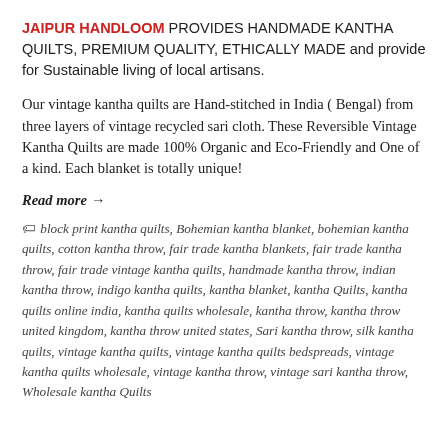JAIPUR HANDLOOM PROVIDES HANDMADE KANTHA QUILTS, PREMIUM QUALITY, ETHICALLY MADE and provide for Sustainable living of local artisans.
Our vintage kantha quilts are Hand-stitched in India ( Bengal) from three layers of vintage recycled sari cloth. These Reversible Vintage Kantha Quilts are made 100% Organic and Eco-Friendly and One of a kind. Each blanket is totally unique!
Read more →
block print kantha quilts, Bohemian kantha blanket, bohemian kantha quilts, cotton kantha throw, fair trade kantha blankets, fair trade kantha throw, fair trade vintage kantha quilts, handmade kantha throw, indian kantha throw, indigo kantha quilts, kantha blanket, kantha Quilts, kantha quilts online india, kantha quilts wholesale, kantha throw, kantha throw united kingdom, kantha throw united states, Sari kantha throw, silk kantha quilts, vintage kantha quilts, vintage kantha quilts bedspreads, vintage kantha quilts wholesale, vintage kantha throw, vintage sari kantha throw, Wholesale kantha Quilts